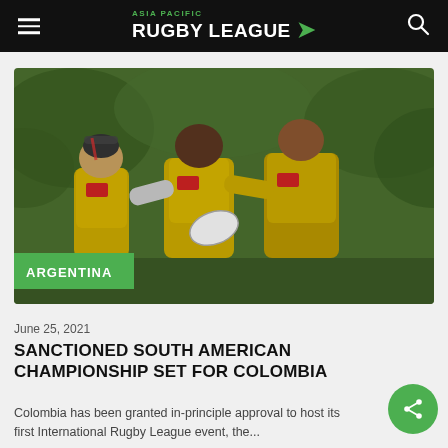ASIA PACIFIC RUGBY LEAGUE
[Figure (photo): Rugby league players in yellow jerseys competing during a match, with lush green foliage in the background. An 'ARGENTINA' green badge overlay appears at the bottom left of the image.]
June 25, 2021
SANCTIONED SOUTH AMERICAN CHAMPIONSHIP SET FOR COLOMBIA
Colombia has been granted in-principle approval to host its first International Rugby League event, the...